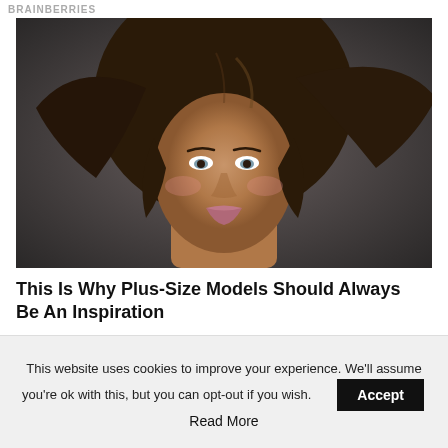BRAINBERRIES
[Figure (photo): Portrait photo of a young woman with long dark curly hair, blue eyes, on a grey background]
This Is Why Plus-Size Models Should Always Be An Inspiration
BRAINBERRIES
[Figure (photo): Partial image showing dark floral background with red roses]
This website uses cookies to improve your experience. We'll assume you're ok with this, but you can opt-out if you wish.
Accept
Read More